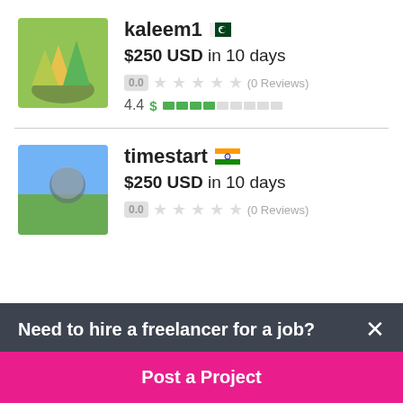[Figure (screenshot): Freelancer profile card for kaleem1 with Pakistan flag, $250 USD in 10 days bid, 0.0 rating, 0 Reviews, 4.4 score with green bar indicator]
[Figure (screenshot): Freelancer profile card for timestart with India flag, $250 USD in 10 days bid, 0.0 rating, 0 Reviews]
Need to hire a freelancer for a job?
Post a Project